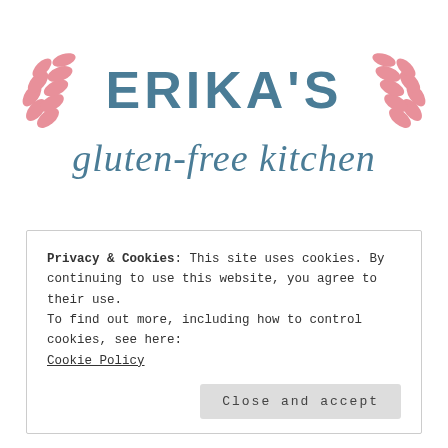[Figure (logo): Erika's Gluten-Free Kitchen logo with pink wheat/leaf decorations on both sides of the text, 'ERIKA'S' in bold teal uppercase letters and 'gluten-free kitchen' in teal italic script below]
Gluten-free and FODMAP diet-friendly recipes, news and tips
Privacy & Cookies: This site uses cookies. By continuing to use this website, you agree to their use.
To find out more, including how to control cookies, see here:
Cookie Policy
Close and accept